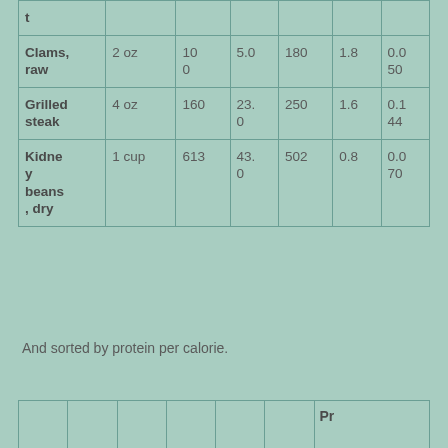| Food | Serving | Calories | Protein | Potassium | Iron | Col7 |
| --- | --- | --- | --- | --- | --- | --- |
| t |  |  |  |  |  |  |
| Clams, raw | 2 oz | 100 | 5.0 | 180 | 1.8 | 0.050 |
| Grilled steak | 4 oz | 160 | 23.0 | 250 | 1.6 | 0.144 |
| Kidney beans, dry | 1 cup | 613 | 43.0 | 502 | 0.8 | 0.070 |
And sorted by protein per calorie.
|  |  |  |  |  |  | Pr |
| --- | --- | --- | --- | --- | --- | --- |